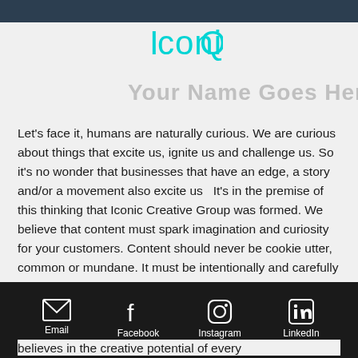[Figure (logo): IconiQ logo in cyan/teal text on white background]
Your Name Goes Here
Let's face it, humans are naturally curious. We are curious about things that excite us, ignite us and challenge us. So it's no wonder that businesses that have an edge, a story and/or a movement also excite us  It's in the premise of this thinking that Iconic Creative Group was formed. We believe that content must spark imagination and curiosity for your customers. Content should never be cookie utter, common or mundane. It must be intentionally and carefully crafted to meld with your passion and the personality of your business. We believe content that creates dialogue and emotion will keep customers interested in your
Email  Facebook  Instagram  LinkedIn
believes in the creative potential of every